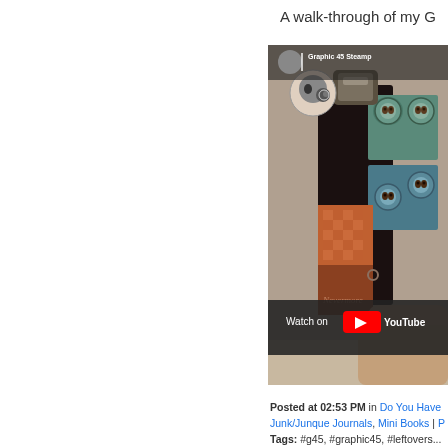A walk-through of my G
[Figure (screenshot): YouTube video thumbnail showing a Graphic 45 Steampunk mini book/journal being held, with owl decorations and patterned paper. Video overlay shows 'Watch on YouTube' button at bottom.]
Posted at 02:53 PM in Do You Have Junk/Junque Journals, Mini Books |
Tags: #g45, #graphic45, #leftovers...